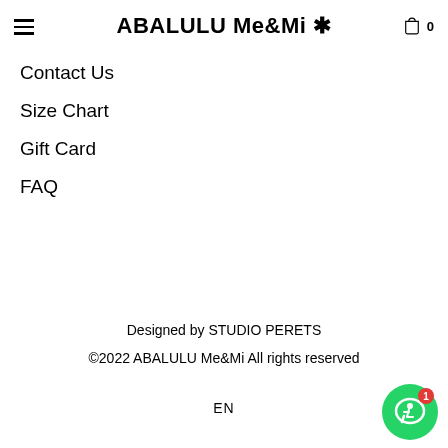ABALULU Me&Mi
Contact Us
Size Chart
Gift Card
FAQ
Designed by STUDIO PERETS
©2022 ABALULU Me&Mi All rights reserved
EN